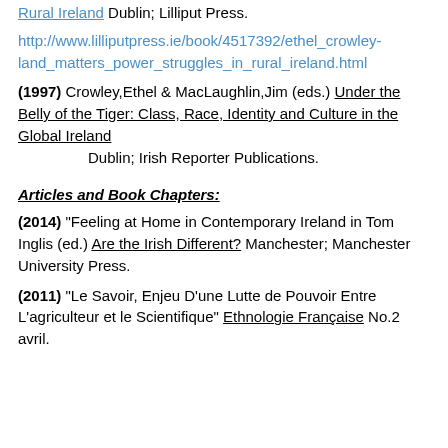Rural Ireland Dublin; Lilliput Press.
http://www.lilliputpress.ie/book/4517392/ethel_crowley-land_matters_power_struggles_in_rural_ireland.html
(1997) Crowley,Ethel & MacLaughlin,Jim (eds.) Under the Belly of the Tiger: Class, Race, Identity and Culture in the Global Ireland
	Dublin; Irish Reporter Publications.
Articles and Book Chapters:
(2014) "Feeling at Home in Contemporary Ireland in Tom Inglis (ed.) Are the Irish Different? Manchester; Manchester University Press.
(2011) "Le Savoir, Enjeu D’une Lutte de Pouvoir Entre L’agriculteur et le Scientifique" Ethnologie Française No.2 avril.